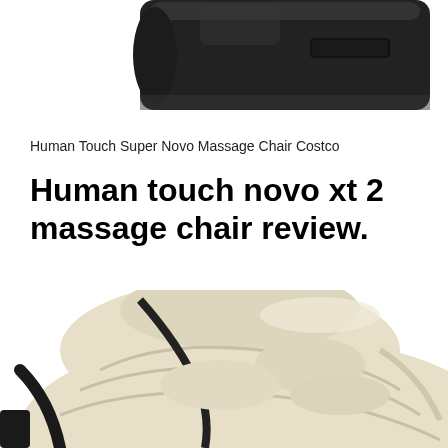[Figure (photo): Close-up of a dark/black massage chair component, cropped at top of page]
Human Touch Super Novo Massage Chair Costco
Human touch novo xt 2 massage chair review.
[Figure (photo): Cream/beige colored massage chair shown at an angle, displaying padded seat and back from above, partially cropped at bottom of page]